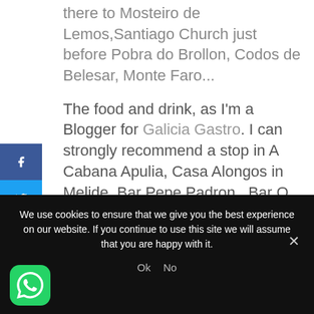there to Mosteiro de Lemos,Santiago Church just before Pobra do Brollon, Codos de Belesar, Monte Faro...
The food and drink, as I'm a Blogger for Galicia Gastro. I can strongly recommend a stop in A Cabana Apulia, Casa Alongos in Melide, Bar Pepe Padron, Bar O
[Figure (infographic): Social media sharing sidebar with Facebook, Twitter, Pinterest, and LinkedIn buttons]
We use cookies to ensure that we give you the best experience on our website. If you continue to use this site we will assume that you are happy with it.
Ok   No
[Figure (logo): WhatsApp icon button - green rounded square with white phone handset icon]